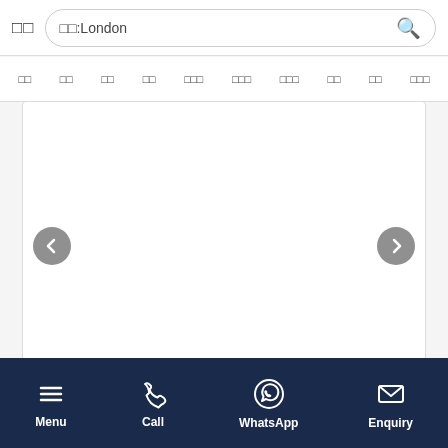□□  □□:London 🔍
□□  □□  □□  □□  □□□  □□□  □□□  □□  □□  □□□
[Figure (screenshot): Image carousel with left and right navigation arrows on a white card]
□□□□□□□
Viadux
Menu  Call  WhatsApp  Enquiry